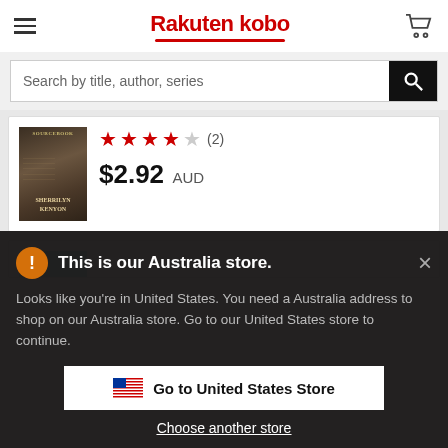Rakuten kobo
Search by title, author, series
[Figure (photo): Book cover for a Sherrilyn Kenyon sourcebook with dark background]
★★★★☆ (2)
$2.92 AUD
This is our Australia store.
Looks like you're in United States. You need a Australia address to shop on our Australia store. Go to our United States store to continue.
Go to United States Store
Choose another store